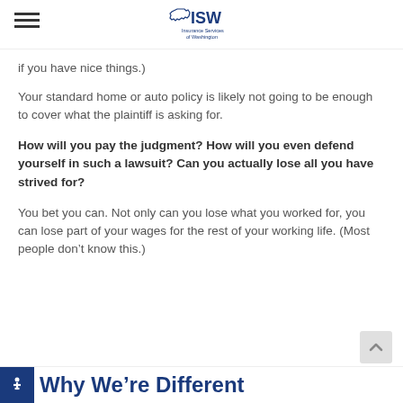ISW Insurance Services of Washington
if you have nice things.)
Your standard home or auto policy is likely not going to be enough to cover what the plaintiff is asking for.
How will you pay the judgment? How will you even defend yourself in such a lawsuit? Can you actually lose all you have strived for?
You bet you can. Not only can you lose what you worked for, you can lose part of your wages for the rest of your working life. (Most people don’t know this.)
Why We’re Different